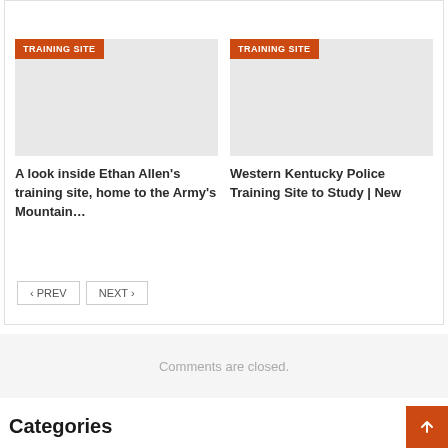Army's Mountain…
[Figure (screenshot): Card with orange TRAINING SITE badge and grey placeholder image]
A look inside Ethan Allen's training site, home to the Army's Mountain…
[Figure (screenshot): Card with orange TRAINING SITE badge and grey placeholder image]
Western Kentucky Police Training Site to Study | New
< PREV   NEXT >
Comments are closed.
Categories